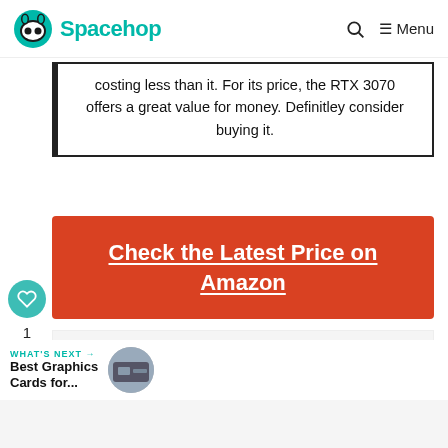Spacehop — Menu
costing less than it. For its price, the RTX 3070 offers a great value for money. Definitley consider buying it.
Check the Latest Price on Amazon
ADVERTISEMENT
WHAT'S NEXT → Best Graphics Cards for...